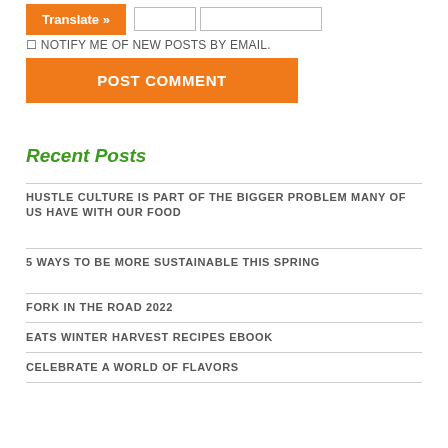NOTIFY ME OF NEW POSTS BY EMAIL.
POST COMMENT
Recent Posts
HUSTLE CULTURE IS PART OF THE BIGGER PROBLEM MANY OF US HAVE WITH OUR FOOD
5 WAYS TO BE MORE SUSTAINABLE THIS SPRING
FORK IN THE ROAD 2022
EATS WINTER HARVEST RECIPES EBOOK
CELEBRATE A WORLD OF FLAVORS